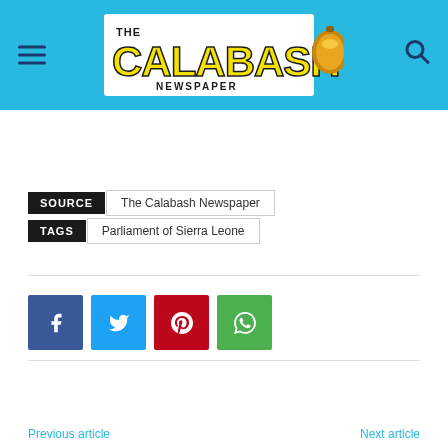[Figure (logo): The Calabash Newspaper logo with yellow bold text on white banner, gold calabash icon, on cyan/blue header background with hamburger menu and search icon]
SOURCE   The Calabash Newspaper
TAGS   Parliament of Sierra Leone
[Figure (infographic): Social media share buttons: Facebook (blue), Twitter (light blue), Pinterest (red), WhatsApp (green)]
Previous article
Next article